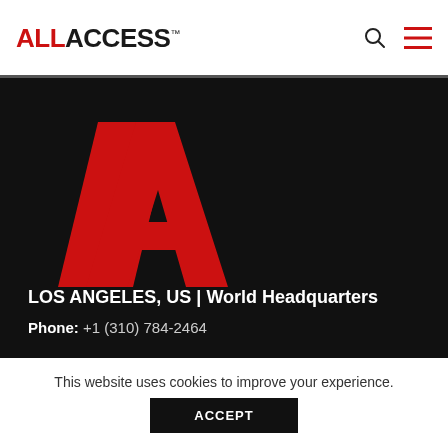[Figure (logo): AllAccess logo with red ALL and black ACCESS text with TM mark, search icon and hamburger menu icon]
[Figure (logo): Large red double-slash A logo mark on dark background]
LOS ANGELES, US | World Headquarters
Phone: +1 (310) 784-2464
This website uses cookies to improve your experience.
ACCEPT